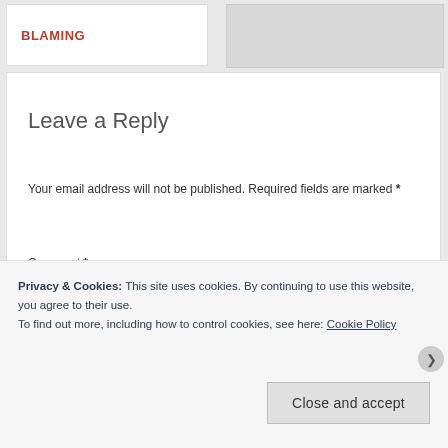BLAMING
Leave a Reply
Your email address will not be published. Required fields are marked *
Comment *
Privacy & Cookies: This site uses cookies. By continuing to use this website, you agree to their use.
To find out more, including how to control cookies, see here: Cookie Policy
Close and accept